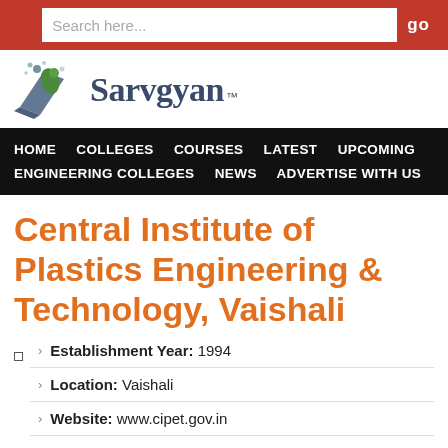Search here...  go
[Figure (logo): Sarvgyan logo with TM mark — colorful icon with circles and a blue triangle, text 'Sarvgyan' in dark blue/grey]
HOME  COLLEGES  COURSES  LATEST  UPCOMING  ENGINEERING COLLEGES  NEWS  ADVERTISE WITH US
Central Institute of Plastics Engineering & Technology, Vaishali
Establishment Year: 1994
Location: Vaishali
Website: www.cipet.gov.in